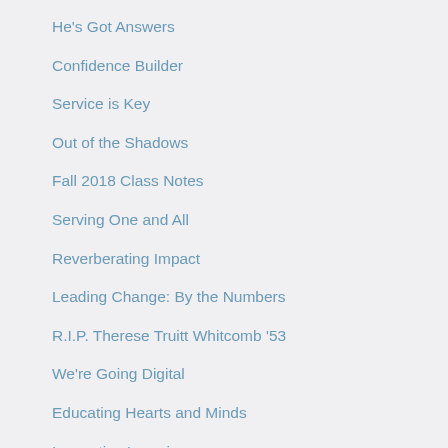He's Got Answers
Confidence Builder
Service is Key
Out of the Shadows
Fall 2018 Class Notes
Serving One and All
Reverberating Impact
Leading Change: By the Numbers
R.I.P. Therese Truitt Whitcomb '53
We're Going Digital
Educating Hearts and Minds
Innovative Learning